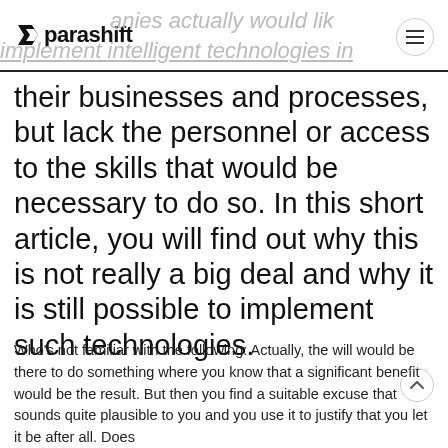parashift
their businesses and processes, but lack the personnel or access to the skills that would be necessary to do so. In this short article, you will find out why this is not really a big deal and why it is still possible to implement such technologies.
Who’s not familiar with the following: Actually, the will would be there to do something where you know that a significant benefit would be the result. But then you find a suitable excuse that sounds quite plausible to you and you use it to justify that you let it be after all. Does